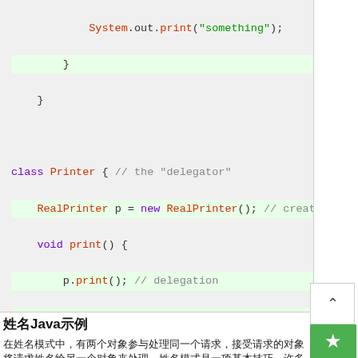[Figure (screenshot): Java code block showing class Printer with delegation pattern and public class Main with main method]
委托Java示例
在委托模式中，有两个对象参与处理同一个请求，接受请求的对象将请求委托给另一个对象来处理。委托模式是一项基本技巧，许多其他的模式，如状态模式、策略模式、访问者模式本质上是在更特殊的场合采用了委托模式。委托让两个对象A和B相关联，将A委托给B，则A和B相关联A以B来处理方法。